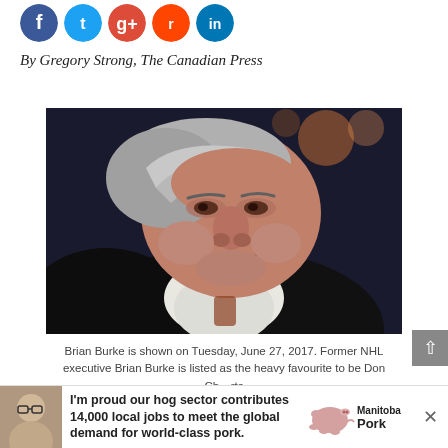[Figure (other): Row of social media sharing icons: Facebook (blue), Twitter (blue), Google+ (green), Reddit (orange-red), LinkedIn (blue)]
By Gregory Strong, The Canadian Press
[Figure (photo): Close-up portrait of Brian Burke, a heavy-set older man with white/grey swept-back hair, wearing a dark suit. Dark blurred background with bokeh lighting.]
Brian Burke is shown on Tuesday, June 27, 2017. Former NHL executive Brian Burke is listed as the heavy favourite to be Don Ch... rts
[Figure (other): Advertisement banner: Manitoba Pork ad with photo of a man in glasses saying 'I'm proud our hog sector contributes 14,000 local jobs to meet the global demand for world-class pork.' Manitoba Pork logo on the right. Close (X) button at far right.]